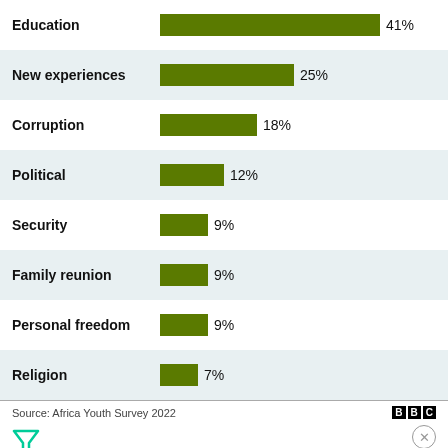[Figure (bar-chart): ]
Source: Africa Youth Survey 2022
"Relocating abroad may look rosy but nothing is really promised out there," he continues.
Similar sentiments were echoed by 33-year-old